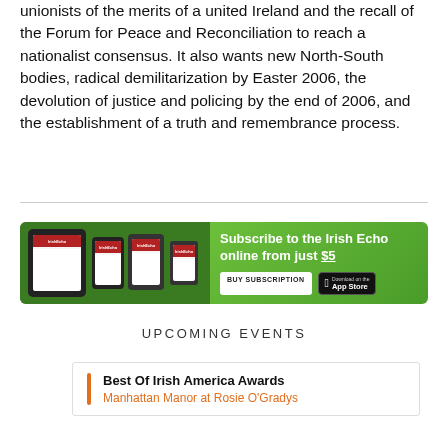unionists of the merits of a united Ireland and the recall of the Forum for Peace and Reconciliation to reach a nationalist consensus. It also wants new North-South bodies, radical demilitarization by Easter 2006, the devolution of justice and policing by the end of 2006, and the establishment of a truth and remembrance process.
[Figure (other): Advertisement banner for Irish Echo online subscription. Green background with images of tablets and phones showing Irish Echo newspaper. Text: 'Subscribe to the Irish Echo online from just $5'. Buttons: 'BUY SUBSCRIPTION' and 'Download on the App Store'.]
UPCOMING EVENTS
Best Of Irish America Awards
Manhattan Manor at Rosie O'Gradys